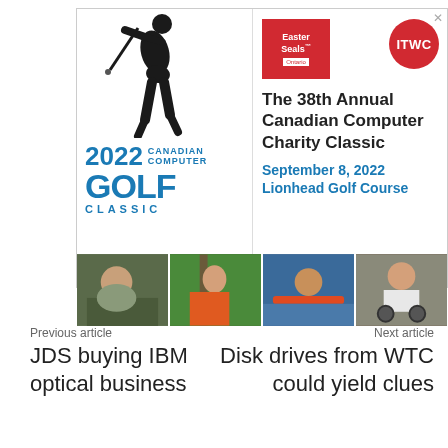[Figure (infographic): Golf charity event advertisement: 38th Annual Canadian Computer Charity Classic, September 8 2022, Lionhead Golf Course. Shows golfer silhouette, Easter Seals and ITWC logos, golf 2022 branding, and four photos of children beneficiaries below.]
Previous article
JDS buying IBM optical business
Next article
Disk drives from WTC could yield clues
[Figure (infographic): 2022 CanadianCIO Census advertisement with ITWC logo on dark grey background with yellow/green decorative shapes.]